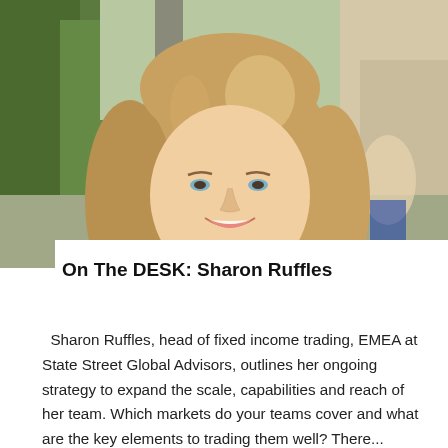[Figure (photo): Portrait photo of Sharon Ruffles, a woman with shoulder-length light brown/blonde hair, smiling, wearing a blue patterned top, photographed outdoors with greenery in the background.]
On The DESK: Sharon Ruffles
Sharon Ruffles, head of fixed income trading, EMEA at State Street Global Advisors, outlines her ongoing strategy to expand the scale, capabilities and reach of her team. Which markets do your teams cover and what are the key elements to trading them well? There...